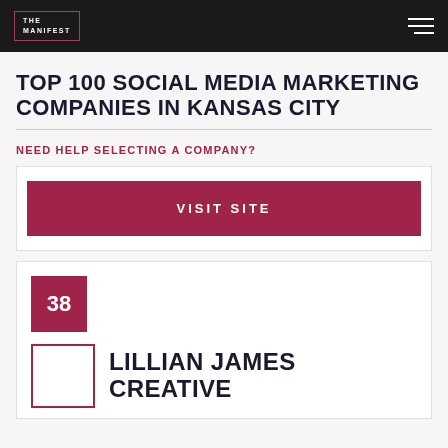THE MANIFEST
TOP 100 SOCIAL MEDIA MARKETING COMPANIES IN KANSAS CITY
NEED HELP SELECTING A COMPANY?
VISIT SITE
38
LILLIAN JAMES CREATIVE